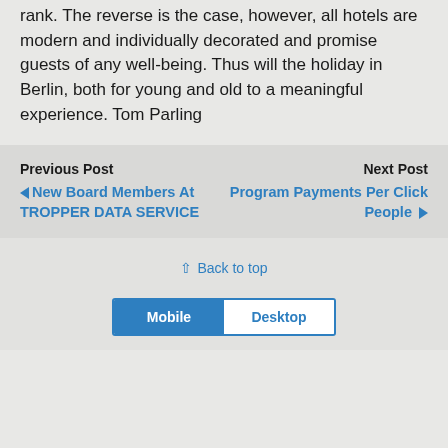rank. The reverse is the case, however, all hotels are modern and individually decorated and promise guests of any well-being. Thus will the holiday in Berlin, both for young and old to a meaningful experience. Tom Parling
Previous Post
◄ New Board Members At TROPPER DATA SERVICE
Next Post
Program Payments Per Click People ►
⇧ Back to top
Mobile  Desktop